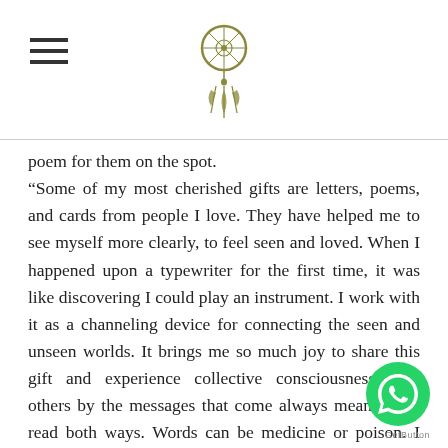Navigation header with hamburger menu and dreamcatcher logo
poem for them on the spot.
“Some of my most cherished gifts are letters, poems, and cards from people I love. They have helped me to see myself more clearly, to feel seen and loved. When I happened upon a typewriter for the first time, it was like discovering I could play an instrument. I work with it as a channeling device for connecting the seen and unseen worlds. It brings me so much joy to share this gift and experience collective consciousness with others by the messages that come always meant to be read both ways. Words can be medicine or poison. I believe in using them with clear intention to create a more beautiful world.”